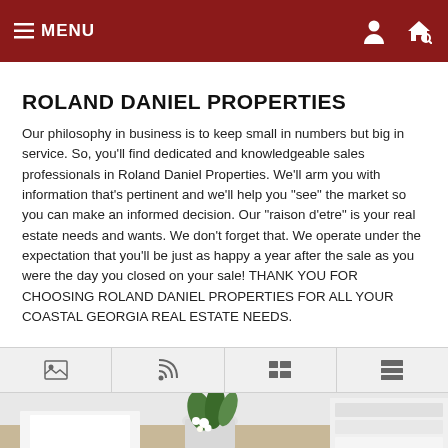≡ MENU
ROLAND DANIEL PROPERTIES
Our philosophy in business is to keep small in numbers but big in service. So, you'll find dedicated and knowledgeable sales professionals in Roland Daniel Properties. We'll arm you with information that's pertinent and we'll help you "see" the market so you can make an informed decision. Our "raison d'etre" is your real estate needs and wants. We don't forget that. We operate under the expectation that you'll be just as happy a year after the sale as you were the day you closed on your sale! THANK YOU FOR CHOOSING ROLAND DANIEL PROPERTIES FOR ALL YOUR COASTAL GEORGIA REAL ESTATE NEEDS.
[Figure (screenshot): View toggle tabs with icons: image gallery, RSS/feed, list view, and grid/card view]
[Figure (photo): Bottom portion of a photo showing a white flower pot with green plants on a white surface]